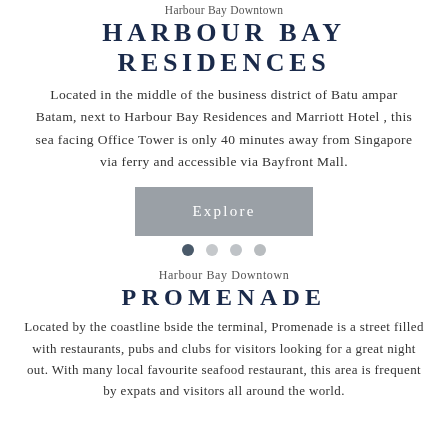Harbour Bay Downtown
HARBOUR BAY RESIDENCES
Located in the middle of the business district of Batu ampar Batam, next to Harbour Bay Residences and Marriott Hotel , this sea facing Office Tower is only 40 minutes away from Singapore via ferry and accessible via Bayfront Mall.
[Figure (other): Explore button with navigation dots below (4 dots, first filled dark)]
Harbour Bay Downtown
PROMENADE
Located by the coastline bside the terminal, Promenade is a street filled with restaurants, pubs and clubs for visitors looking for a great night out. With many local favourite seafood restaurant, this area is frequent by expats and visitors all around the world.